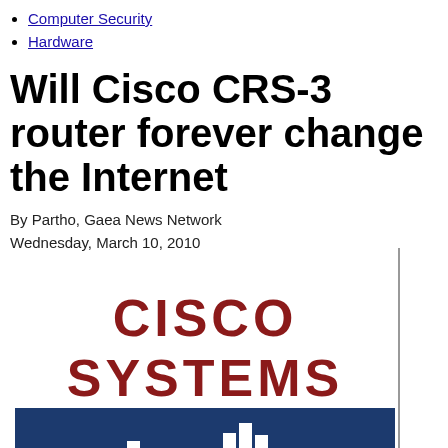Computer Security
Hardware
Will Cisco CRS-3 router forever change the Internet
By Partho, Gaea News Network
Wednesday, March 10, 2010
[Figure (logo): Cisco Systems logo with dark red text 'CISCO SYSTEMS' above a dark blue rectangle containing white vertical bars of varying heights]